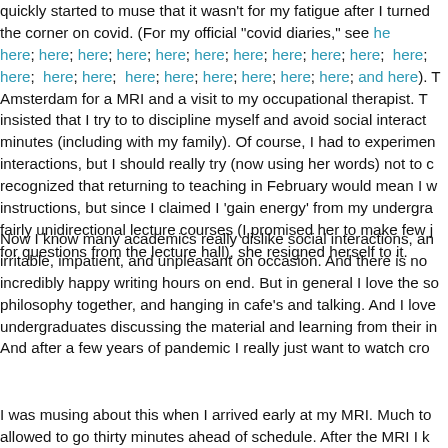quickly started to muse that it wasn't for my fatigue after I turned the corner on covid. (For my official "covid diaries," see here; here; here; here; here; here; here; here; here; here; here; here; here; here; here; here; here; here; here; here; and here). T Amsterdam for a MRI and a visit to my occupational therapist. T insisted that I try to to discipline myself and avoid social interact minutes (including with my family). Of course, I had to experimen interactions, but I should really try (now using her words) not to c recognized that returning to teaching in February would mean I w instructions, but since I claimed I 'gain energy' from my undergra fairly unidirectional lecture courses (I promised her to make few j for questions from the lecture hall), she resigned herself to it.
Now I know many academics really dislike social interactions, an irritable, impatient, and unpleasant on occasion. And there is no incredibly happy writing hours on end. But in general I love the so philosophy together, and hanging in cafe's and talking. And I love undergraduates discussing the material and learning from their in And after a few years of pandemic I really just want to watch cro
I was musing about this when I arrived early at my MRI. Much to allowed to go thirty minutes ahead of schedule. After the MRI I k